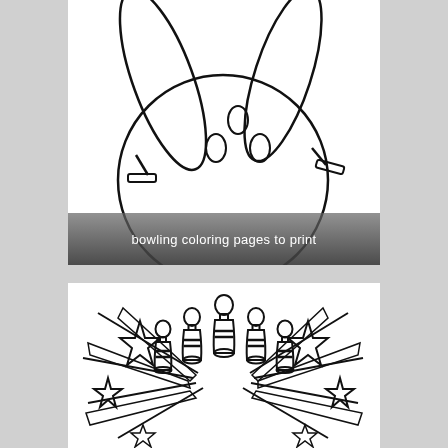[Figure (illustration): Coloring page outline of a bowling ball hitting pins, with bowling ball in center and pins flying outward. Black outline on white background.]
bowling coloring pages to print
[Figure (illustration): Coloring page outline of bowling pins arranged in a cluster with stars and radiating lines around them, suggesting an explosion or strike. Black outline on white background.]